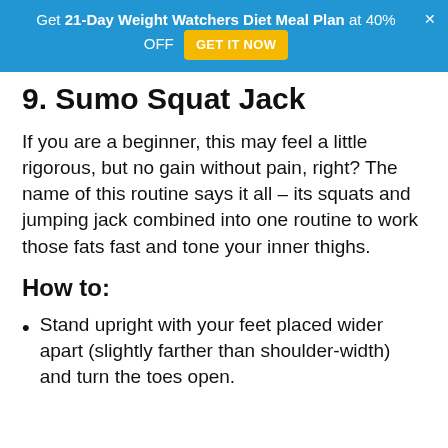Get 21-Day Weight Watchers Diet Meal Plan at 40% OFF  GET IT NOW
9. Sumo Squat Jack
If you are a beginner, this may feel a little rigorous, but no gain without pain, right? The name of this routine says it all – its squats and jumping jack combined into one routine to work those fats fast and tone your inner thighs.
How to:
Stand upright with your feet placed wider apart (slightly farther than shoulder-width) and turn the toes open.